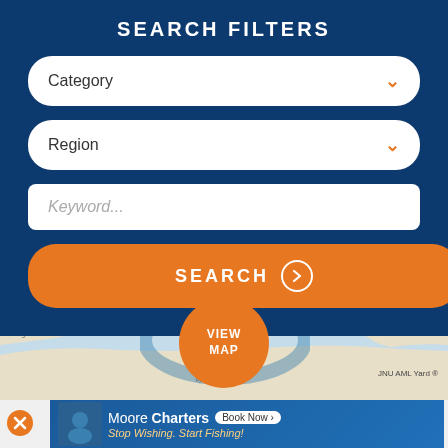SEARCH FILTERS
Category
Region
Keyword...
SEARCH
[Figure (screenshot): Map view of a coastal area with water body, showing labels including Crowley Petroleum, JNU AML Yard, with a VIEW MAP button overlaid]
[Figure (screenshot): Advertisement banner for Moore Charters with tagline: Stop Wishing. Start Fishing! and a Book Now button. Has a close (X) button on the left.]